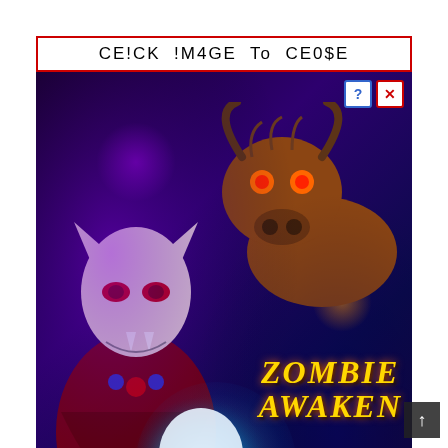CE!CK !M4GE To CE0$E
[Figure (illustration): Advertisement overlay for 'Zombie Awaken - New Hall in Ocean King 2' game featuring a vampire character, a bison/bull, a glowing skull, and the Golden HoYeah Slots logo with purple/dark background. Text includes 'NEW HALL IN OCEAN KING 2' in large stylized lettering.]
Acura                                                                      DX is coming                                                                   s. The redesig                                                               finitely illustra                                                             sently proved                                                              rollin in the                  selection. For a good when resources reported d the program, will there be? Did nobody get any shut specifics of the